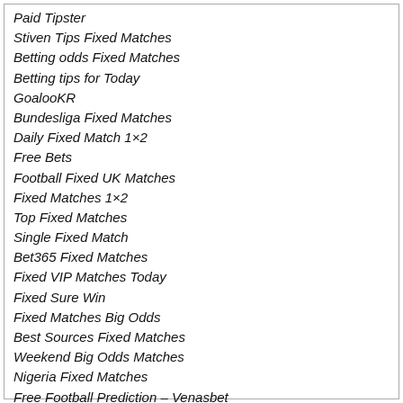Paid Tipster
Stiven Tips Fixed Matches
Betting odds Fixed Matches
Betting tips for Today
GoalooKR
Bundesliga Fixed Matches
Daily Fixed Match 1×2
Free Bets
Football Fixed UK Matches
Fixed Matches 1×2
Top Fixed Matches
Single Fixed Match
Bet365 Fixed Matches
Fixed VIP Matches Today
Fixed Sure Win
Fixed Matches Big Odds
Best Sources Fixed Matches
Weekend Big Odds Matches
Nigeria Fixed Matches
Free Football Prediction – Venasbet